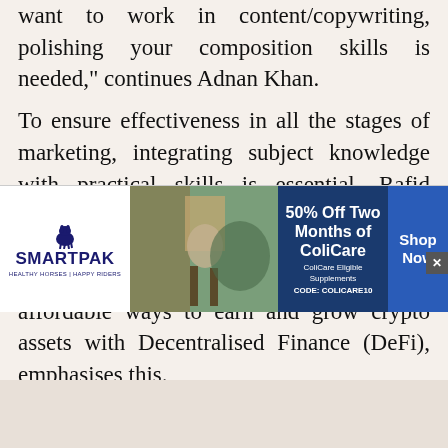want to work in content/copywriting, polishing your composition skills is needed," continues Adnan Khan.
To ensure effectiveness in all the stages of marketing, integrating subject knowledge with practical skills is essential. Rafid Sadman Eesha who works in the Marketing and Growth department at AlpineDefi, a US-based company building easy and affordable ways to earn and grow crypto assets with Decentralised Finance (DeFi), emphasises this.
"Having a sound knowledge of theoretical frameworks helps us set goals, track progress, and innovate solutions. These frameworks do not
[Figure (other): SmartPak advertisement banner: 50% Off Two Months of ColiCare. ColiCare Eligible Supplements. CODE: COLICARE10. Shop Now. Features SmartPak logo with horse icon and product image with person and horse.]